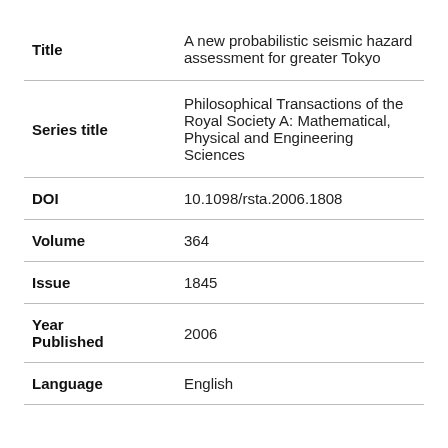| Field | Value |
| --- | --- |
| Title | A new probabilistic seismic hazard assessment for greater Tokyo |
| Series title | Philosophical Transactions of the Royal Society A: Mathematical, Physical and Engineering Sciences |
| DOI | 10.1098/rsta.2006.1808 |
| Volume | 364 |
| Issue | 1845 |
| Year Published | 2006 |
| Language | English |